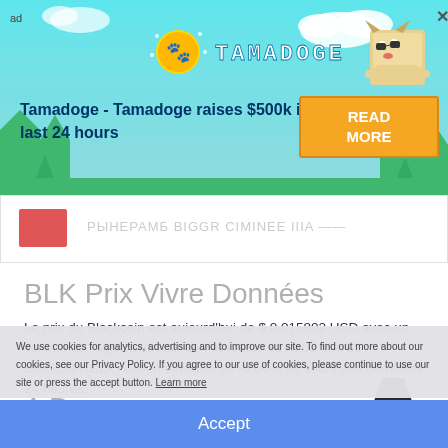[Figure (infographic): Tamadoge advertisement banner with cyan sky background, trees, Tamadoge coin logo, dog mascot, headline text and READ MORE button]
[Figure (infographic): Partial content item showing red box and blurred text, partially obscured by ad banner]
BLK Prix Vivre Données
Le prix du Blackcoin est aujourd'hui de $ 0.015802 USD avec un volume de négociation sur 24 heures de $163.00 M USD. Blackcoin (BLK) est en diminuer de -0.06% au cours des dernières 24 heures.
A Propos
We use cookies for analytics, advertising and to improve our site. To find out more about our cookies, see our Privacy Policy. If you agree to our use of cookies, please continue to use our site or press the accept button. Learn more
Accept